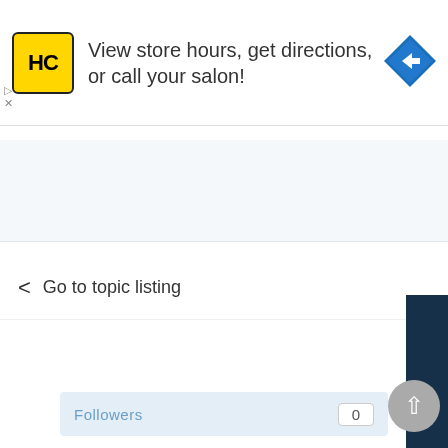[Figure (screenshot): Ad banner with HC (Hairstyle Club) yellow logo, text 'View store hours, get directions, or call your salon!', and a blue diamond navigation icon]
Followers  0
< Go to topic listing
This website uses cookies to ensure you get the best experience on our website.
Learn more
Got it!